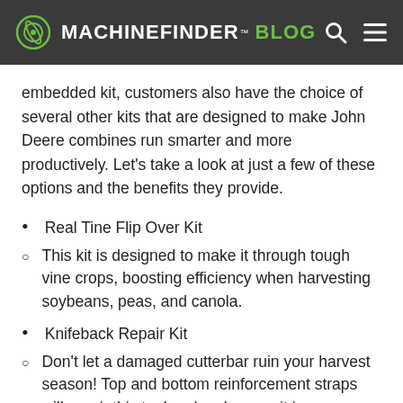MACHINEFINDER™ BLOG
embedded kit, customers also have the choice of several other kits that are designed to make John Deere combines run smarter and more productively. Let's take a look at just a few of these options and the benefits they provide.
Real Tine Flip Over Kit
This kit is designed to make it through tough vine crops, boosting efficiency when harvesting soybeans, peas, and canola.
Knifeback Repair Kit
Don't let a damaged cutterbar ruin your harvest season! Top and bottom reinforcement straps will repair this tool and make sure it is as